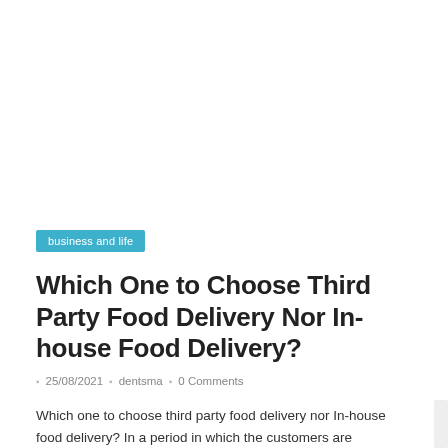business and life
Which One to Choose Third Party Food Delivery Nor In-house Food Delivery?
25/08/2021  dentsma  0 Comments
Which one to choose third party food delivery nor In-house food delivery? In a period in which the customers are